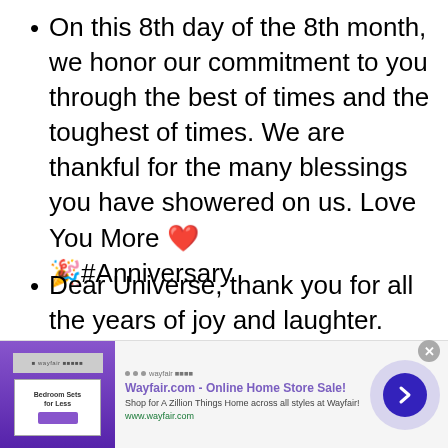On this 8th day of the 8th month, we honor our commitment to you through the best of times and the toughest of times. We are thankful for the many blessings you have showered on us. Love You More ❤️ 🎉#Anniversary
Dear Universe, thank you for all the years of joy and laughter.
[Figure (other): Wayfair.com advertisement banner showing bedroom furniture with text 'Wayfair.com - Online Home Store Sale! Shop for A Zillion Things Home across all styles at Wayfair! www.wayfair.com' and a blue circular arrow button.]